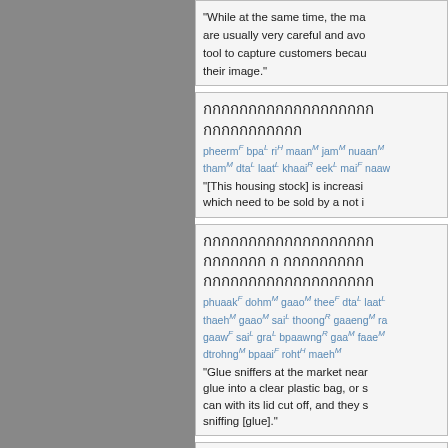"While at the same time, the ma... are usually very careful and avo... tool to capture customers becau... their image."
Thai text block 1 with romanization: pheermF bpaL riH maanM jamM nuaanM thamM dtaL laatL khaaiR eekL maiF naaw... "[This housing stock] is increasi... which need to be sold by a not i..."
Thai text block 2 with romanization: phuaakF dohmM gaaoM theeF dtaL laat... thaehM gaaoM saiL thoongR gaaengM ra... gaawF saiL graL bpaawngR gaaM faaeM... dtrohngM bpaaiF rohtH maehM "Glue sniffers at the market near... glue into a clear plastic bag, or s... can with its lid cut off, and they s... sniffing [glue]."